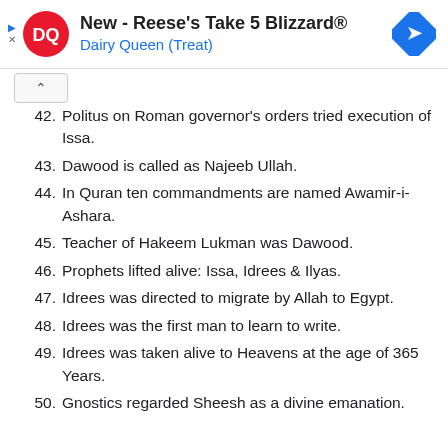[Figure (advertisement): Dairy Queen advertisement banner: New - Reese's Take 5 Blizzard® with DQ logo and navigation arrow icon]
42. Politus on Roman governor's orders tried execution of Issa.
43. Dawood is called as Najeeb Ullah.
44. In Quran ten commandments are named Awamir-i-Ashara.
45. Teacher of Hakeem Lukman was Dawood.
46. Prophets lifted alive: Issa, Idrees & Ilyas.
47. Idrees was directed to migrate by Allah to Egypt.
48. Idrees was the first man to learn to write.
49. Idrees was taken alive to Heavens at the age of 365 Years.
50. Gnostics regarded Sheesh as a divine emanation.